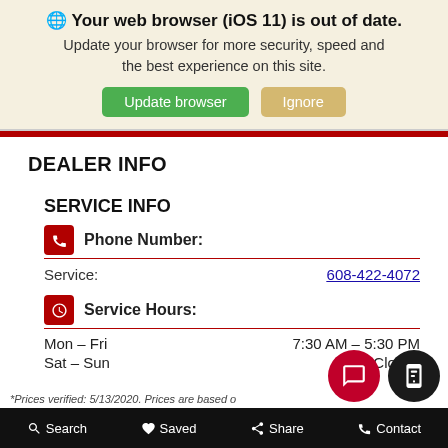🌐 Your web browser (iOS 11) is out of date. Update your browser for more security, speed and the best experience on this site.
Update browser | Ignore
DEALER INFO
SERVICE INFO
Phone Number:
Service: 608-422-4072
Service Hours:
Mon – Fri   7:30 AM – 5:30 PM
Sat – Sun   Closed
*Prices verified: 5/13/2020. Prices are based on prices f...
Search   Saved   Share   Contact